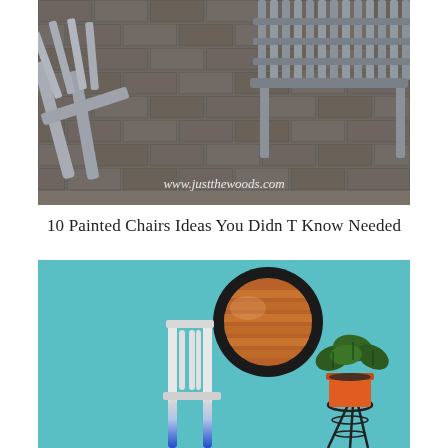[Figure (photo): Two outdoor chairs painted gray/silver on a brick patio surface. The chairs appear to be Adirondack-style, photographed from above on grey brick pavers. A watermark reads 'www.justthewoods.com'.]
10 Painted Chairs Ideas You Didn T Know Needed
[Figure (photo): A teal/turquoise wall with a round black-framed mirror reflecting wooden chair slats in orange/brown tones. In the foreground is a white chair with blue ombre-painted legs. To the right is an orange terra cotta pot with a green leafy plant on a black wire plant stand.]